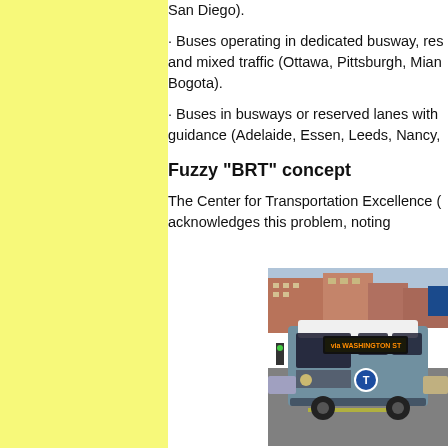San Diego).
· Buses operating in dedicated busway, res and mixed traffic (Ottawa, Pittsburgh, Mian Bogota).
· Buses in busways or reserved lanes with guidance (Adelaide, Essen, Leeds, Nancy,
Fuzzy "BRT" concept
The Center for Transportation Excellence ( acknowledges this problem, noting
[Figure (photo): A city bus displaying 'via WASHINGTON ST' on its destination sign, traveling in urban traffic with buildings in the background. The bus appears to be a MBTA (Boston) transit bus.]